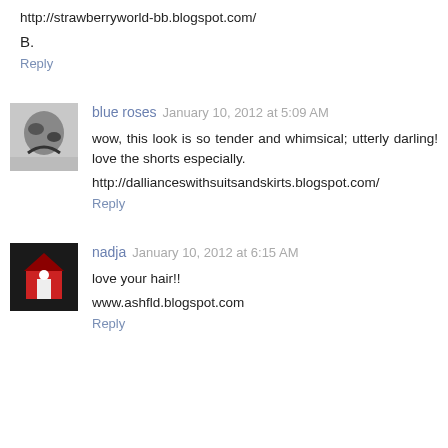http://strawberryworld-bb.blogspot.com/
B.
Reply
blue roses  January 10, 2012 at 5:09 AM
wow, this look is so tender and whimsical; utterly darling! love the shorts especially.
http://dallianceswithsuitsandskirts.blogspot.com/
Reply
nadja  January 10, 2012 at 6:15 AM
love your hair!!
www.ashfld.blogspot.com
Reply